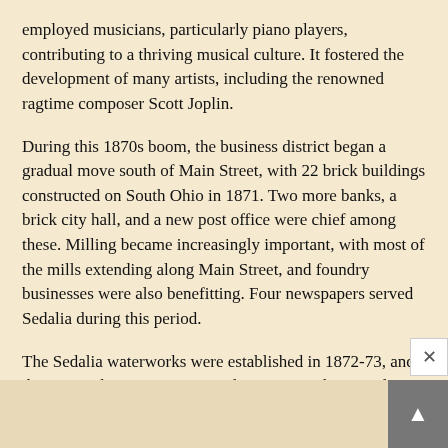employed musicians, particularly piano players, contributing to a thriving musical culture. It fostered the development of many artists, including the renowned ragtime composer Scott Joplin.
During this 1870s boom, the business district began a gradual move south of Main Street, with 22 brick buildings constructed on South Ohio in 1871. Two more banks, a brick city hall, and a new post office were chief among these. Milling became increasingly important, with most of the mills extending along Main Street, and foundry businesses were also benefitting. Four newspapers served Sedalia during this period.
The Sedalia waterworks were established in 1872-73, and the gas works were reorganized in 1872, with a gas plant to make gas from coal making gas lights available.